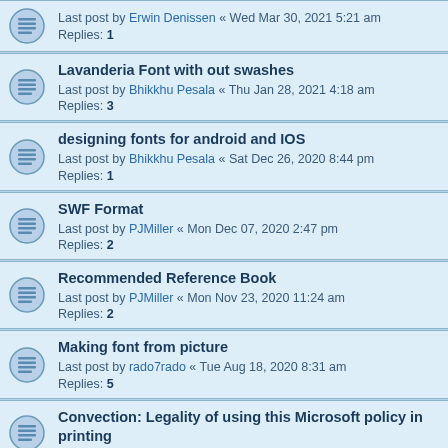Last post by Erwin Denissen « Wed Mar 30, 2021 5:21 am
Replies: 1
Lavanderia Font with out swashes
Last post by Bhikkhu Pesala « Thu Jan 28, 2021 4:18 am
Replies: 3
designing fonts for android and IOS
Last post by Bhikkhu Pesala « Sat Dec 26, 2020 8:44 pm
Replies: 1
SWF Format
Last post by PJMiller « Mon Dec 07, 2020 2:47 pm
Replies: 2
Recommended Reference Book
Last post by PJMiller « Mon Nov 23, 2020 11:24 am
Replies: 2
Making font from picture
Last post by rado7rado « Tue Aug 18, 2020 8:31 am
Replies: 5
Convection: Legality of using this Microsoft policy in printing
Last post by ClintGoss « Tue Aug 04, 2020 10:42 am
Replies: 3
Showing anchor
Last post by dhiman4us@gmail.com « Tue Jun 30, 2020 7:30 am
Replies: 2
Adding Anchor
Last post by dhiman4us@gmail.com « Tue Jun 23, 2020 5:27 pm
Replies: 2
How to replace a glyph at the end of a line or paragraph not